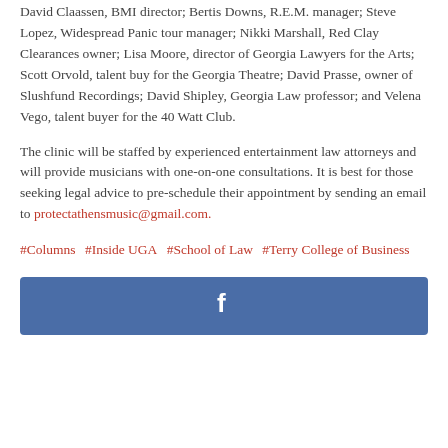David Claassen, BMI director; Bertis Downs, R.E.M. manager; Steve Lopez, Widespread Panic tour manager; Nikki Marshall, Red Clay Clearances owner; Lisa Moore, director of Georgia Lawyers for the Arts; Scott Orvold, talent buy for the Georgia Theatre; David Prasse, owner of Slushfund Recordings; David Shipley, Georgia Law professor; and Velena Vego, talent buyer for the 40 Watt Club.
The clinic will be staffed by experienced entertainment law attorneys and will provide musicians with one-on-one consultations. It is best for those seeking legal advice to pre-schedule their appointment by sending an email to protectathensmusic@gmail.com.
#Columns  #Inside UGA  #School of Law  #Terry College of Business
[Figure (other): Facebook share button — dark blue rectangle with white Facebook 'f' icon centered]